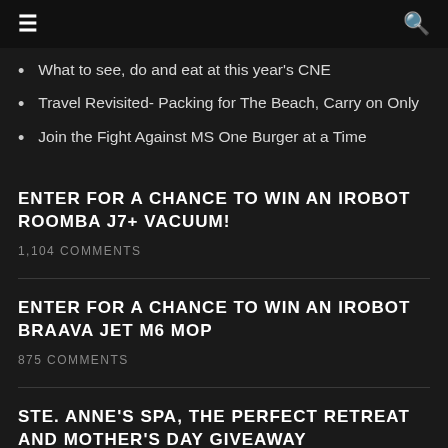≡  🔍
What to see, do and eat at this year's CNE
Travel Revisited- Packing for The Beach, Carry on Only
Join the Fight Against MS One Burger at a Time
ENTER FOR A CHANCE TO WIN AN IROBOT ROOMBA J7+ VACUUM!
1,104 COMMENTS
ENTER FOR A CHANCE TO WIN AN IROBOT BRAAVA JET M6 MOP
875 COMMENTS
STE. ANNE'S SPA, THE PERFECT RETREAT AND MOTHER'S DAY GIVEAWAY
804 COMMENTS